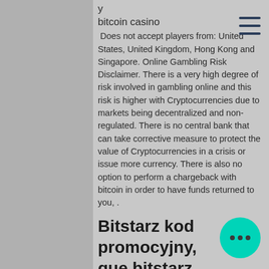y bitcoin casino
Does not accept players from: United States, United Kingdom, Hong Kong and Singapore. Online Gambling Risk Disclaimer. There is a very high degree of risk involved in gambling online and this risk is higher with Cryptocurrencies due to markets being decentralized and non-regulated. There is no central bank that can take corrective measure to protect the value of Cryptocurrencies in a crisis or issue more currency. There is also no option to perform a chargeback with bitcoin in order to have funds returned to you, .
Bitstarz kod promocyjny, que bitstarz
Bitcoin withdrawal transactions typically take less than one hour to complete, providing players with the ability to access their winnings much faster than any other